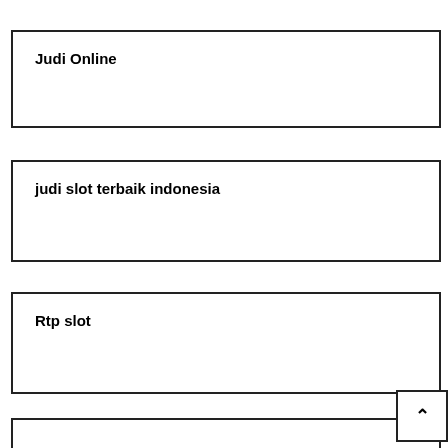Judi Online
judi slot terbaik indonesia
Rtp slot
[Figure (other): An up-arrow navigation button (caret icon) in a bordered box, partially overlapping the fourth section box border.]